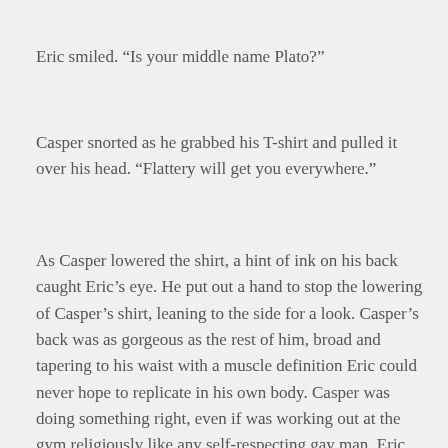Eric smiled. “Is your middle name Plato?”
Casper snorted as he grabbed his T-shirt and pulled it over his head. “Flattery will get you everywhere.”
As Casper lowered the shirt, a hint of ink on his back caught Eric’s eye. He put out a hand to stop the lowering of Casper’s shirt, leaning to the side for a look. Casper’s back was as gorgeous as the rest of him, broad and tapering to his waist with a muscle definition Eric could never hope to replicate in his own body. Casper was doing something right, even if was working out at the gym religiously like any self-respecting gay man. Eric, quite obviously, didn’t respect his body as a temple, unless it was as a temple that had